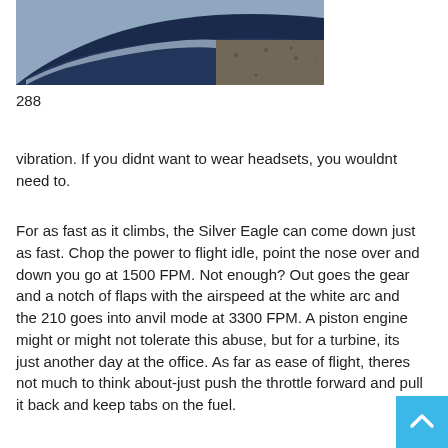[Figure (photo): Partial view of an aircraft fuselage, dark blue/navy color, close-up shot showing smooth curved surface against gravel ground]
288
vibration. If you didnt want to wear headsets, you wouldnt need to.
For as fast as it climbs, the Silver Eagle can come down just as fast. Chop the power to flight idle, point the nose over and down you go at 1500 FPM. Not enough? Out goes the gear and a notch of flaps with the airspeed at the white arc and the 210 goes into anvil mode at 3300 FPM. A piston engine might or might not tolerate this abuse, but for a turbine, its just another day at the office. As far as ease of flight, theres not much to think about-just push the throttle forward and pull it back and keep tabs on the fuel.